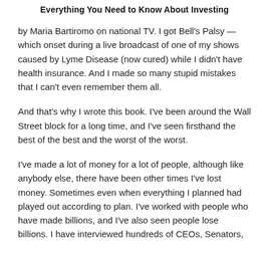Everything You Need to Know About Investing
by Maria Bartiromo on national TV. I got Bell's Palsy — which onset during a live broadcast of one of my shows caused by Lyme Disease (now cured) while I didn't have health insurance. And I made so many stupid mistakes that I can't even remember them all.
And that's why I wrote this book. I've been around the Wall Street block for a long time, and I've seen firsthand the best of the best and the worst of the worst.
I've made a lot of money for a lot of people, although like anybody else, there have been other times I've lost money. Sometimes even when everything I planned had played out according to plan. I've worked with people who have made billions, and I've also seen people lose billions. I have interviewed hundreds of CEOs, Senators,